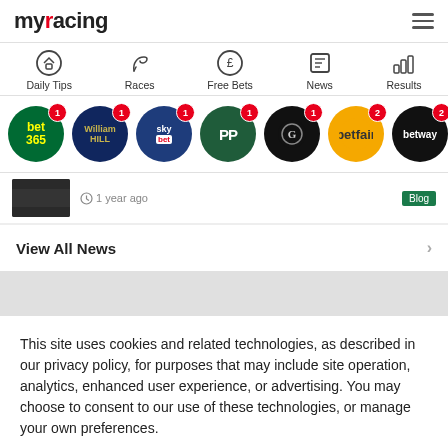[Figure (screenshot): myracing website header with logo and hamburger menu]
[Figure (screenshot): Navigation bar with Daily Tips, Races, Free Bets, News, Results icons]
[Figure (screenshot): Row of bookmaker logos: bet365, William Hill, Sky Bet, Paddy Power, Grosvenor Sport, Betfair, Betway, 888sport with notification badges]
1 year ago
Blog
View All News
This site uses cookies and related technologies, as described in our privacy policy, for purposes that may include site operation, analytics, enhanced user experience, or advertising. You may choose to consent to our use of these technologies, or manage your own preferences.
Manage Settings
Accept
Decline All